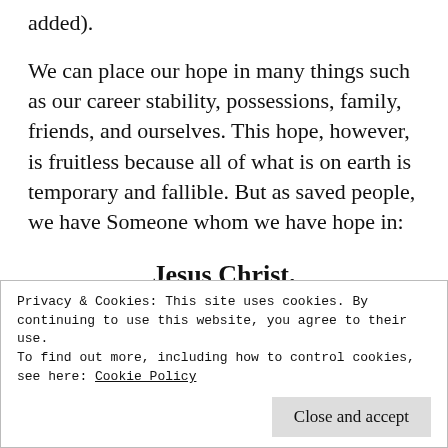added).
We can place our hope in many things such as our career stability, possessions, family, friends, and ourselves. This hope, however, is fruitless because all of what is on earth is temporary and fallible. But as saved people, we have Someone whom we have hope in:
Jesus Christ.
We have hope in Him even though we can't see
Privacy & Cookies: This site uses cookies. By continuing to use this website, you agree to their use.
To find out more, including how to control cookies, see here: Cookie Policy
Close and accept